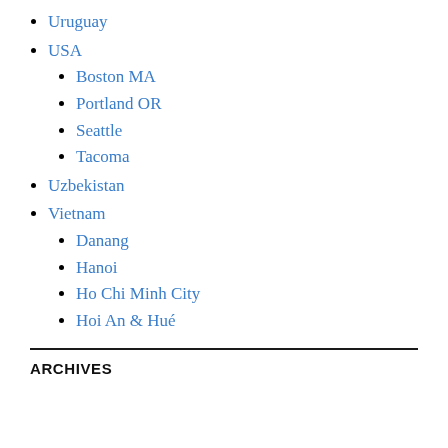Uruguay
USA
Boston MA
Portland OR
Seattle
Tacoma
Uzbekistan
Vietnam
Danang
Hanoi
Ho Chi Minh City
Hoi An & Hué
ARCHIVES